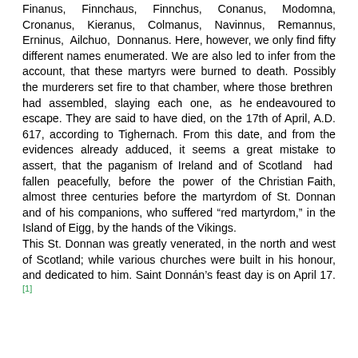Finanus, Finnchaus, Finnchus, Conanus, Modomna, Cronanus, Kieranus, Colmanus, Navinnus, Remannus, Erninus, Ailchuo, Donnanus. Here, however, we only find fifty different names enumerated. We are also led to infer from the account, that these martyrs were burned to death. Possibly the murderers set fire to that chamber, where those brethren had assembled, slaying each one, as he endeavoured to escape. They are said to have died, on the 17th of April, A.D. 617, according to Tighernach. From this date, and from the evidences already adduced, it seems a great mistake to assert, that the paganism of Ireland and of Scotland had fallen peacefully, before the power of the Christian Faith, almost three centuries before the martyrdom of St. Donnan and of his companions, who suffered “red martyrdom,” in the Island of Eigg, by the hands of the Vikings.
This St. Donnan was greatly venerated, in the north and west of Scotland; while various churches were built in his honour, and dedicated to him. Saint Donnán's feast day is on April 17.[1]